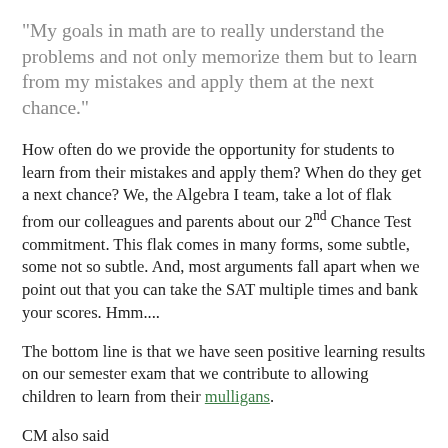“My goals in math are to really understand the problems and not only memorize them but to learn from my mistakes and apply them at the next chance.”
How often do we provide the opportunity for students to learn from their mistakes and apply them?  When do they get a next chance?  We, the Algebra I team, take a lot of flak from our colleagues and parents about our 2nd Chance Test commitment.  This flak comes in many forms, some subtle, some not so subtle. And, most arguments fall apart when we point out that you can take the SAT multiple times and bank your scores.  Hmm....
The bottom line is that we have seen positive learning results on our semester exam that we contribute to allowing children to learn from their mulligans.
CM also said